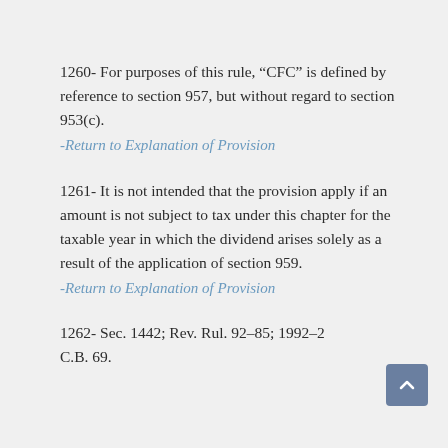1260- For purposes of this rule, “CFC” is defined by reference to section 957, but without regard to section 953(c).
-Return to Explanation of Provision
1261- It is not intended that the provision apply if an amount is not subject to tax under this chapter for the taxable year in which the dividend arises solely as a result of the application of section 959.
-Return to Explanation of Provision
1262- Sec. 1442; Rev. Rul. 92–85; 1992–2 C.B. 69.